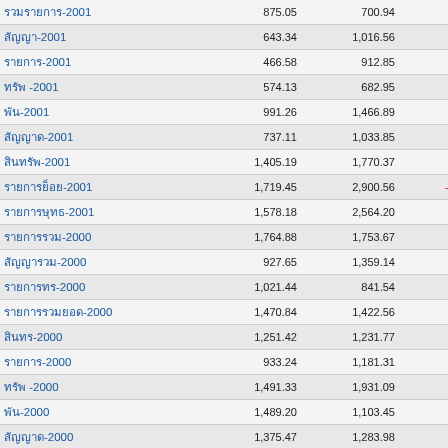| Name | Value1 | Value2 | Diff |
| --- | --- | --- | --- |
| [text]-2001 | 875.05 | 700.94 | 100 |
| [text]-2001 | 643.34 | 1,016.56 | -373 |
| [text]-2001 | 466.58 | 912.85 | -446 |
| [text] -2001 | 574.13 | 682.95 | -108 |
| [text]-2001 | 991.26 | 1,466.89 | -475 |
| [text]-2001 | 737.11 | 1,033.85 | -296 |
| [text]-2001 | 1,405.19 | 1,770.37 | -357 |
| [text]-2001 | 1,719.45 | 2,900.56 | -1,181 |
| [text]-2001 | 1,578.18 | 2,564.20 | -924 |
| [text]-2000 | 1,764.88 | 1,753.67 | 11 |
| [text]-2000 | 927.65 | 1,359.14 | -431 |
| [text]-2000 | 1,021.44 | 841.54 | 179 |
| [text]-2000 | 1,470.84 | 1,422.56 | 243 |
| [text]-2000 | 1,251.42 | 1,231.77 | 19 |
| [text]-2000 | 933.24 | 1,181.31 | -248 |
| [text] -2000 | 1,491.33 | 1,931.09 | -439 |
| [text]-2000 | 1,489.20 | 1,103.45 | 385 |
| [text]-2000 | 1,375.47 | 1,283.98 | 91 |
| [text]-2000 | 2,773.63 | 2,604.93 | 168 |
| [text]-2000 | 2,967.11 | 3,630.41 | -663 |
| TOTAL | 6,358,358.56 | 5,860,794.65 | 500,472 |
[Thai language footnote text]